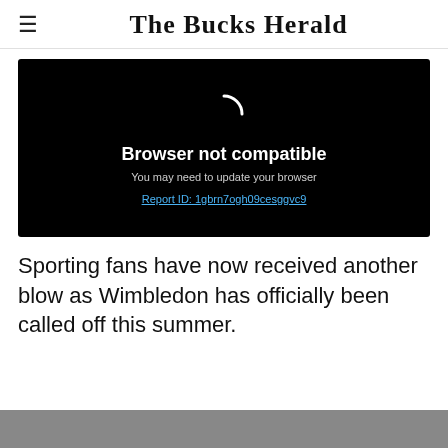The Bucks Herald
[Figure (screenshot): Black video player box showing 'Browser not compatible' error message with spinning arc icon, subtitle 'You may need to update your browser', and a link 'Report ID: 1gbrn7ogh09cesggvc9']
Sporting fans have now received another blow as Wimbledon has officially been called off this summer.